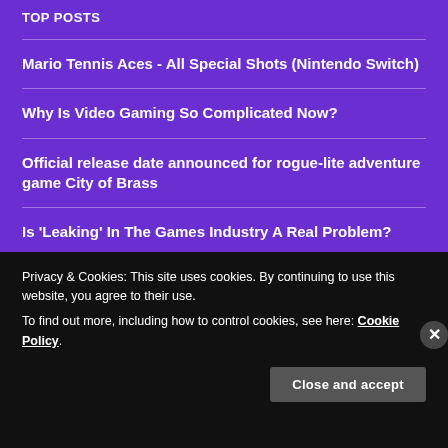TOP POSTS
Mario Tennis Aces - All Special Shots (Nintendo Switch)
Why Is Video Gaming So Complicated Now?
Official release date announced for rogue-lite adventure game City of Brass
Is ‘Leaking’ In The Games Industry A Real Problem?
Privacy & Cookies: This site uses cookies. By continuing to use this website, you agree to their use.
To find out more, including how to control cookies, see here: Cookie Policy.
Close and accept